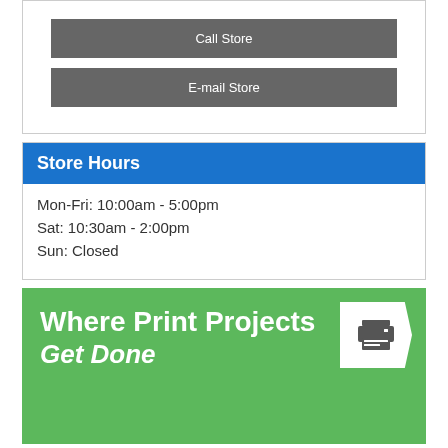Call Store
E-mail Store
Store Hours
Mon-Fri: 10:00am - 5:00pm
Sat: 10:30am - 2:00pm
Sun: Closed
[Figure (infographic): Green promotional banner with white bold text reading 'Where Print Projects Get Done' and a printer icon on a white arrow-shaped badge in the top right corner.]
Located in beautiful La Habra